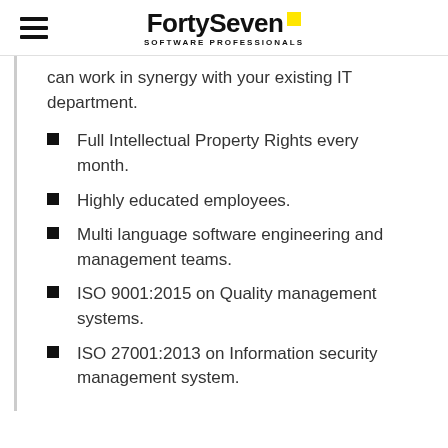FortySeven SOFTWARE PROFESSIONALS
can work in synergy with your existing IT department.
Full Intellectual Property Rights every month.
Highly educated employees.
Multi language software engineering and management teams.
ISO 9001:2015 on Quality management systems.
ISO 27001:2013 on Information security management system.